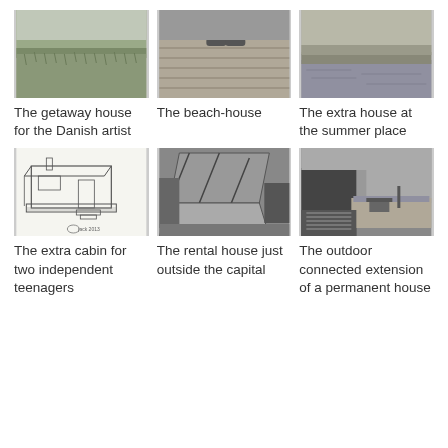[Figure (photo): Black and white photo of grassy field/dune landscape]
The getaway house for the Danish artist
[Figure (photo): Black and white photo of a wooden deck with person's feet visible]
The beach-house
[Figure (photo): Black and white photo of a body of water or waterside]
The extra house at the summer place
[Figure (illustration): Architectural pencil sketch / line drawing of a small cabin module with deck]
The extra cabin for two independent teenagers
[Figure (photo): Black and white photo of a folded or hinged roof structure under construction]
The rental house just outside the capital
[Figure (photo): Black and white photo of a dark house exterior with patio and firewood]
The outdoor connected extension of a permanent house